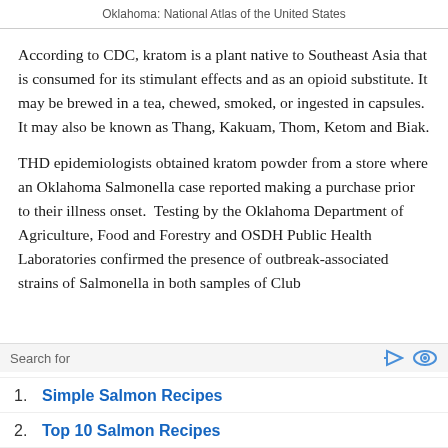Oklahoma: National Atlas of the United States
According to CDC, kratom is a plant native to Southeast Asia that is consumed for its stimulant effects and as an opioid substitute. It may be brewed in a tea, chewed, smoked, or ingested in capsules. It may also be known as Thang, Kakuam, Thom, Ketom and Biak.
THD epidemiologists obtained kratom powder from a store where an Oklahoma Salmonella case reported making a purchase prior to their illness onset.  Testing by the Oklahoma Department of Agriculture, Food and Forestry and OSDH Public Health Laboratories confirmed the presence of outbreak-associated strains of Salmonella in both samples of Club
1. Simple Salmon Recipes
2. Top 10 Salmon Recipes